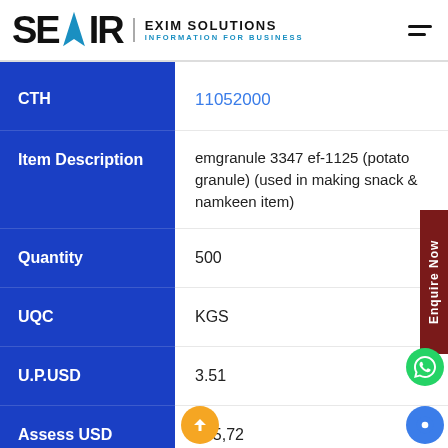SEAIR EXIM SOLUTIONS — INFORMATION FOR BUSINESS
| Field | Value |
| --- | --- |
| CTH | 11052000 |
| Item Description | emgranule 3347 ef-1125 (potato granule) (used in making snack & namkeen item) |
| Quantity | 500 |
| UQC | KGS |
| U.P.USD | 3.51 |
| Assess USD | 175,72? |